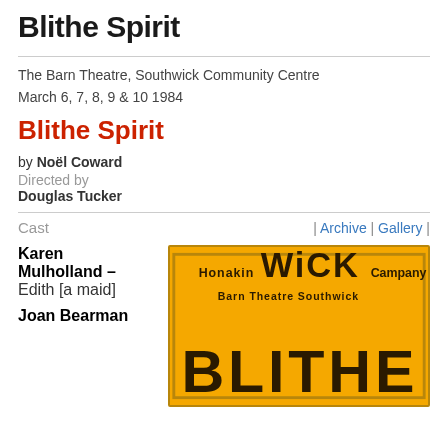Blithe Spirit
The Barn Theatre, Southwick Community Centre
March 6, 7, 8, 9 & 10 1984
Blithe Spirit
by Noël Coward
Directed by
Douglas Tucker
Cast
| Archive | Gallery |
Karen Mulholland – Edith [a maid]
Joan Bearman
[Figure (photo): Yellow poster for Wick Theatre Company Barn Theatre Southwick production of Blithe Spirit, showing 'WICK' in large letters and 'Blithe' partially visible at bottom]